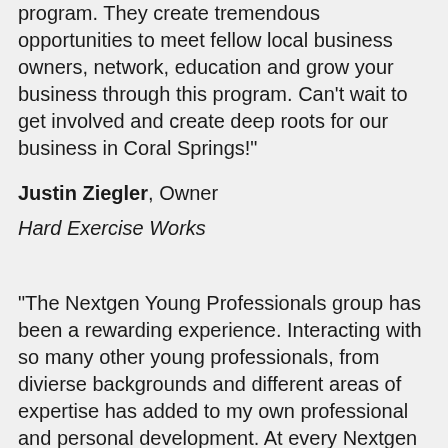program. They create tremendous opportunities to meet fellow local business owners, network, education and grow your business through this program. Can't wait to get involved and create deep roots for our business in Coral Springs!"
Justin Ziegler, Owner
Hard Exercise Works
"The Nextgen Young Professionals group has been a rewarding experience. Interacting with so many other young professionals, from divierse backgrounds and different areas of expertise has added to my own professional and personal development. At every Nextgen event, I am guaranteed to walk away with new knowledge or an opportunity to build a friendship with a fellow young professional. I